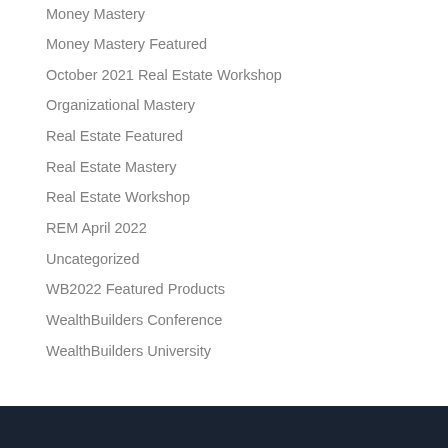Money Mastery
Money Mastery Featured
October 2021 Real Estate Workshop
Organizational Mastery
Real Estate Featured
Real Estate Mastery
Real Estate Workshop
REM April 2022
Uncategorized
WB2022 Featured Products
WealthBuilders Conference
WealthBuilders University